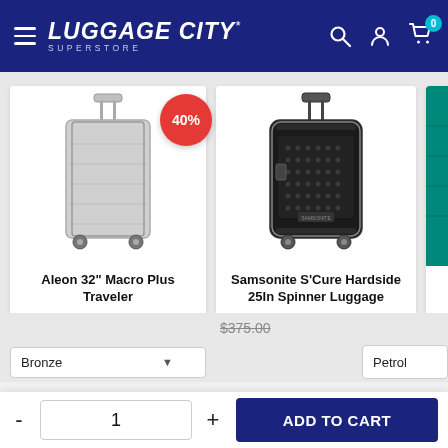Luggage City Superstore - Navigation header with menu, search, account, and cart icons
[Figure (photo): Silver aluminum hard-shell suitcase (Aleon 32 Macro Plus Traveler) with 40% off badge]
[Figure (photo): Black hard-shell suitcase (Samsonite S'Cure Hardside 25In Spinner Luggage)]
[Figure (photo): Partial view of third product (teal/petrol suitcase)]
Aleon 32" Macro Plus Traveler
$1,034.00
Samsonite S'Cure Hardside 25In Spinner Luggage
$375.00
Bronze
Petrol
1
ADD TO CART